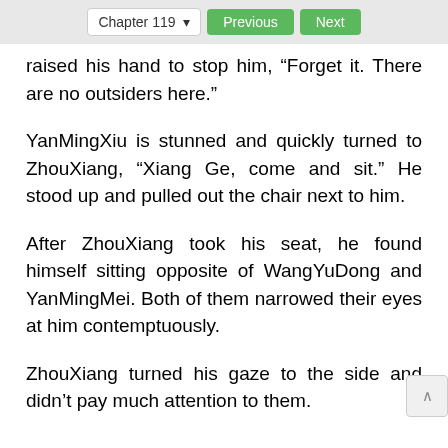Chapter 119  Previous  Next
raised his hand to stop him, “Forget it. There are no outsiders here.”
YanMingXiu is stunned and quickly turned to ZhouXiang, “Xiang Ge, come and sit.” He stood up and pulled out the chair next to him.
After ZhouXiang took his seat, he found himself sitting opposite of WangYuDong and YanMingMei. Both of them narrowed their eyes at him contemptuously.
ZhouXiang turned his gaze to the side and didn’t pay much attention to them.